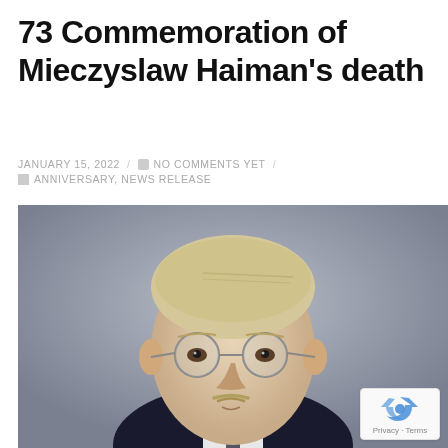73 Commemoration of Mieczyslaw Haiman's death
JANUARY 15, 2022  /  NO COMMENTS YET  /  ANNIVERSARY, NEWS RELEASE
[Figure (photo): Portrait photograph of Mieczyslaw Haiman, a man with light blond combed-back hair, round wire-frame glasses, and a small mustache, wearing a dark suit and tie, against a grey gradient background.]